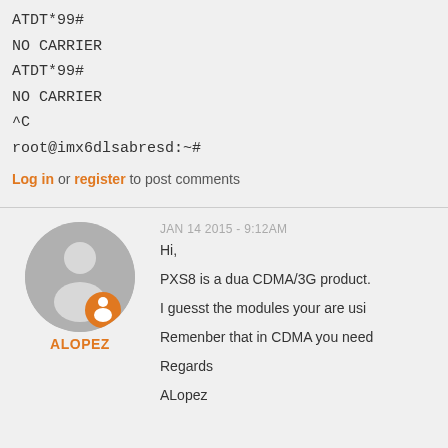ATDT*99#
NO CARRIER
ATDT*99#
NO CARRIER
^C
root@imx6dlsabresd:~#
Log in or register to post comments
ALOPEZ
JAN 14 2015 - 9:12AM
Hi,
PXS8 is a dua CDMA/3G product.
I guesst the modules your are usi
Remenber that in CDMA you need
Regards
ALopez